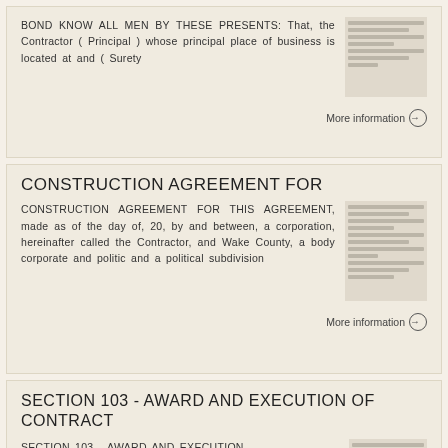BOND KNOW ALL MEN BY THESE PRESENTS: That, the Contractor ( Principal ) whose principal place of business is located at and ( Surety
More information →
CONSTRUCTION AGREEMENT FOR
CONSTRUCTION AGREEMENT FOR THIS AGREEMENT, made as of the day of, 20, by and between, a corporation, hereinafter called the Contractor, and Wake County, a body corporate and politic and a political subdivision
More information →
SECTION 103 - AWARD AND EXECUTION OF CONTRACT
SECTION 103 - AWARD AND EXECUTION